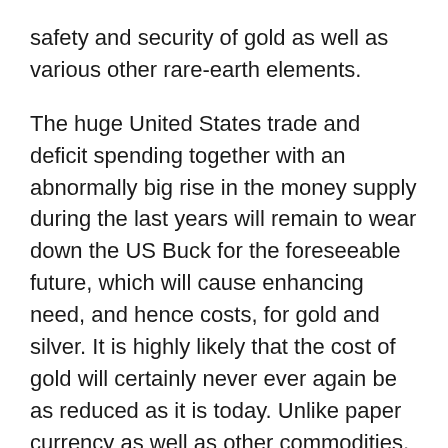safety and security of gold as well as various other rare-earth elements.
The huge United States trade and deficit spending together with an abnormally big rise in the money supply during the last years will remain to wear down the US Buck for the foreseeable future, which will cause enhancing need, and hence costs, for gold and silver. It is highly likely that the cost of gold will certainly never ever again be as reduced as it is today. Unlike paper currency as well as other commodities, gold has a history of holding its value, and also rising, throughout economic crises.
Why is Gold So Important in Diversity?